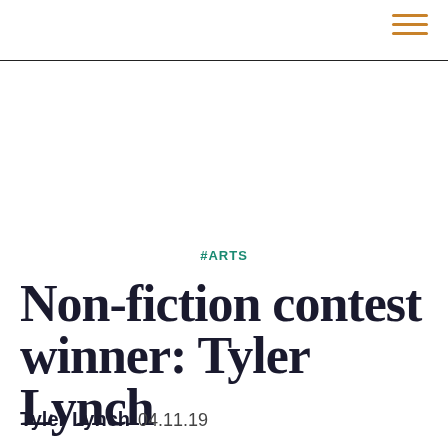#ARTS
Non-fiction contest winner: Tyler Lynch
Tyler Lynch 04.11.19